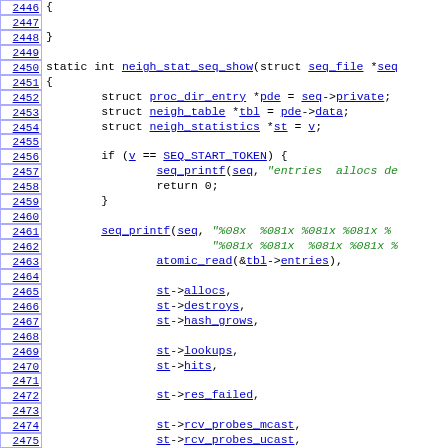Source code listing lines 2446-2475, C kernel code for neigh_stat_seq_show function
[Figure (screenshot): C source code with line numbers 2446-2475 showing neigh_stat_seq_show function implementation with hyperlinked identifiers]